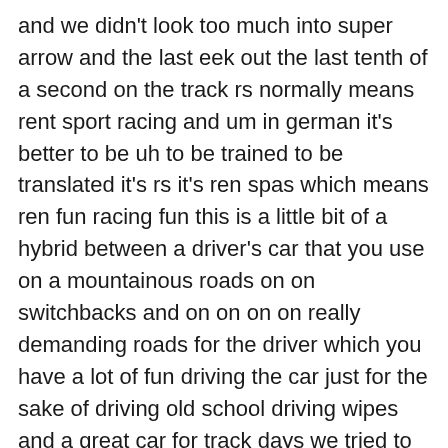and we didn't look too much into super arrow and the last eek out the last tenth of a second on the track rs normally means rent sport racing and um in german it's better to be uh to be trained to be translated it's rs it's ren spas which means ren fun racing fun this is a little bit of a hybrid between a driver's car that you use on a mountainous roads on on switchbacks and on on on on really demanding roads for the driver which you have a lot of fun driving the car just for the sake of driving old school driving wipes and a great car for track days we tried to find the perfect compromise here and i think we did because from the emotional point of view this is a complete different experience because on a gt3 for example if you're talking about sound and sound is very very important for our customers and for ourselves too the gt3 sound is dominated by the exhaust this one's dominated mainly by the intake which gives a complete different atmosphere and makes the driving from the acoustics completely different which is important but it